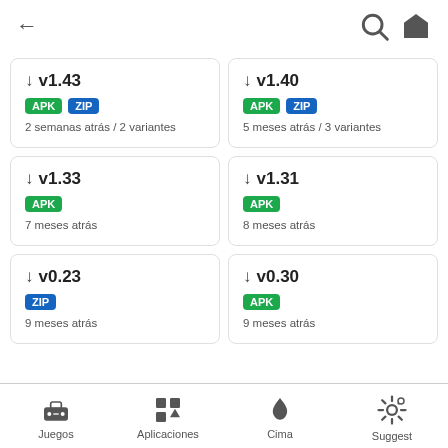← 🔍 🏠
↓ v1.43 | APK ZIP | 2 semanas atrás / 2 variantes
↓ v1.40 | APK ZIP | 5 meses atrás / 3 variantes
↓ v1.33 | APK | 7 meses atrás
↓ v1.31 | APK | 8 meses atrás
↓ v0.23 | ZIP | 9 meses atrás
↓ v0.30 | APK | 9 meses atrás
Juegos | Aplicaciones | Cima | Suggest